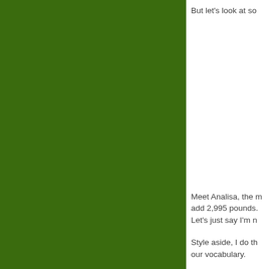[Figure (photo): Large dark green rectangular panel occupying the left portion of the page]
But let's look at so
Meet Analisa, the m add 2,995 pounds. Let's just say I'm n
Style aside, I do th our vocabulary.
How about the leas
Here's sweet Soph (and expensive) Pr
With 75% of the J.C